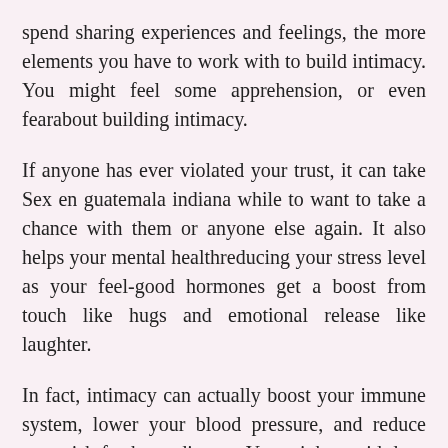spend sharing experiences and feelings, the more elements you have to work with to build intimacy. You might feel some apprehension, or even fearabout building intimacy.
If anyone has ever violated your trust, it can take Sex en guatemala indiana while to want to take a chance with them or anyone else again. It also helps your mental healthreducing your stress level as your feel-good hormones get a boost from touch like hugs and emotional release like laughter.
In fact, intimacy can actually boost your immune system, lower your blood pressure, and reduce your risk for heart disease. You might avoid deep relationships or feel anxious about social situations for reasons that are Online video chat rooms free. Do you isolate yourself from other